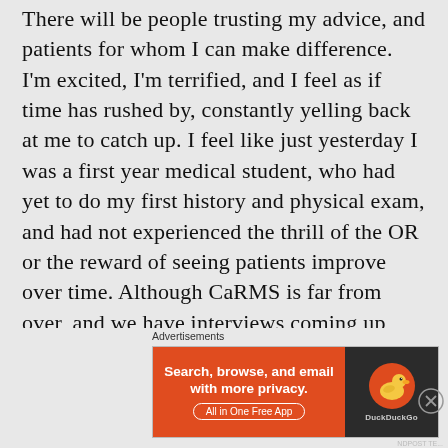There will be people trusting my advice, and patients for whom I can make difference. I'm excited, I'm terrified, and I feel as if time has rushed by, constantly yelling back at me to catch up. I feel like just yesterday I was a first year medical student, who had yet to do my first history and physical exam, and had not experienced the thrill of the OR or the reward of seeing patients improve over time. Although CaRMS is far from over, and we have interviews coming up way too soon, this application process has been an incredible growing process, and has demanded introspection into everything that makes me, me.I mean what is
Advertisements
[Figure (other): DuckDuckGo advertisement banner: orange left panel with text 'Search, browse, and email with more privacy. All in One Free App', dark right panel with DuckDuckGo logo duck icon and brand name.]